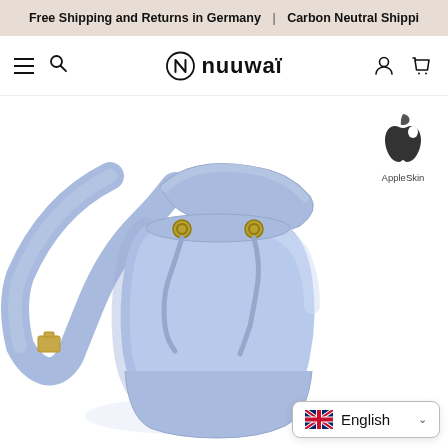Free Shipping and Returns in Germany | Carbon Neutral Shippi...
[Figure (logo): NUUWAI brand logo with circle-N icon, displayed in navbar]
[Figure (illustration): AppleSkin material badge icon - apple silhouette shape with leaf above it]
AppleSkin
[Figure (photo): Light blue/periwinkle vegan leather bucket bag with drawstring closure, gold hardware grommets, and crossbody strap, photographed on white background]
English